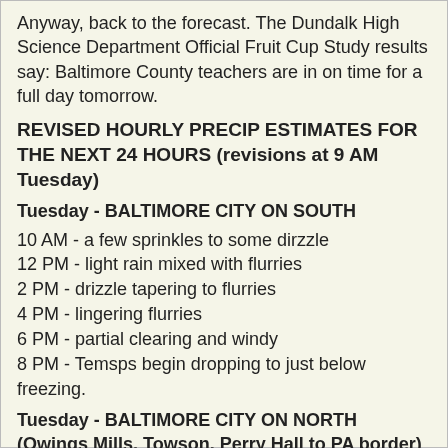Anyway, back to the forecast. The Dundalk High Science Department Official Fruit Cup Study results say: Baltimore County teachers are in on time for a full day tomorrow.
REVISED HOURLY PRECIP ESTIMATES FOR THE NEXT 24 HOURS (revisions at 9 AM Tuesday)
Tuesday - BALTIMORE CITY ON SOUTH
10 AM - a few sprinkles to some dirzzle
12 PM - light rain mixed with flurries
2 PM - drizzle tapering to flurries
4 PM - lingering flurries
6 PM - partial clearing and windy
8 PM - Temsps begin dropping to just below freezing.
Tuesday - BALTIMORE CITY ON NORTH (Owings Mills, Towson, Perry Hall to PA border)
10 AM - light snow and rain mixed.
12 PM - light snow and rain, accumulating up to an inch on